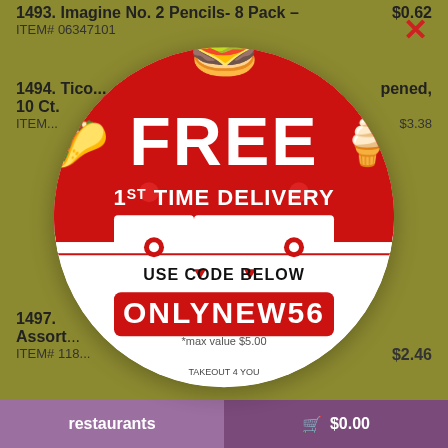1493. Imagine No. 2 Pencils- 8 Pack – $0.62
ITEM# 06347101
1494. Tico... opened, 10 Ct.
ITEM# ... $3.38
1497. Assort...
ITEM# 118... $2.46
[Figure (infographic): Promotional popup circle for a food delivery app. Red and white circular badge with cartoon food characters (burger, taco, ice cream cone). Text reads: FREE 1ST TIME DELIVERY. USE CODE BELOW. ONLYNEW56. *max value $5.00. Takeout 4 You logo at bottom.]
restaurants   🛒 $0.00